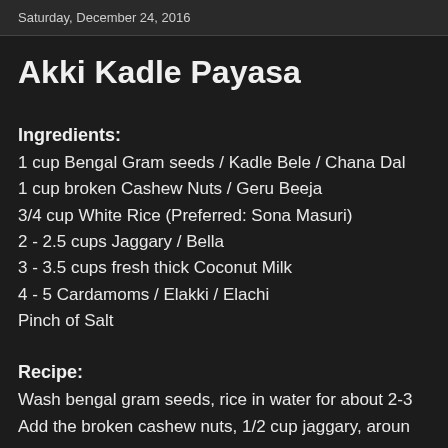Saturday, December 24, 2016
Akki Kadle Payasa
Ingredients:
1 cup Bengal Gram seeds / Kadle Bele / Chana Dal
1 cup broken Cashew Nuts / Geru Beeja
3/4 cup White Rice (Preferred: Sona Masuri)
2 - 2.5 cups Jaggary / Bella
3 - 3.5 cups fresh thick Coconut Milk
4 - 5 Cardamoms / Elakki / Elachi
Pinch of Salt
Recipe:
Wash bengal gram seeds, rice in water for about 2-3
Add the broken cashew nuts, 1/2 cup jaggary, aroun